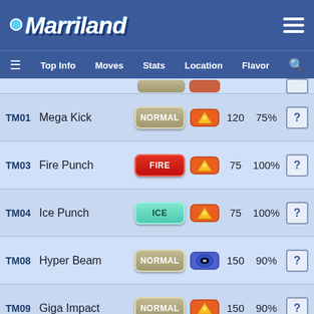Marriland - Top Info | Moves | Stats | Location | Flavor
| TM | Move | Type | Category | Power | Accuracy |  |
| --- | --- | --- | --- | --- | --- | --- |
| TM01 | Mega Kick | NORMAL | Physical | 120 | 75% | ? |
| TM03 | Fire Punch | FIRE | Physical | 75 | 100% | ? |
| TM04 | Ice Punch | ICE | Physical | 75 | 100% | ? |
| TM08 | Hyper Beam | NORMAL | Special | 150 | 90% | ? |
| TM09 | Giga Impact | NORMAL | Physical | 150 | 90% | ? |
| TM11 | Solar Beam | GRASS | Special | 120 | 100% | ? |
| TM13 | Fire Spin | FIRE | Special | 35 | 85% | ? |
| TM15 | Dig | GROUND | Physical | 80 | 100% | ? |
| TM21 | Rest | PSYCHIC | Status | – | – | ? |
| TM22 | Rock Slide | ROCK | Physical | 75 | 90% | ? |
| TM23 | Thief | DARK | Physical | 60 | 100% | ? |